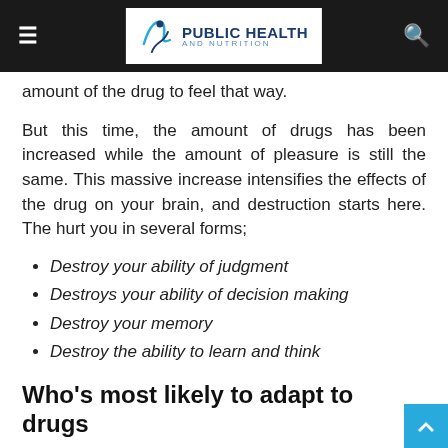PUBLIC HEALTH AND NUTRITION
amount of the drug to feel that way.
But this time, the amount of drugs has been increased while the amount of pleasure is still the same. This massive increase intensifies the effects of the drug on your brain, and destruction starts here. The hurt you in several forms;
Destroy your ability of judgment
Destroys your ability of decision making
Destroy your memory
Destroy the ability to learn and think
Who's most likely to adapt to drugs addiction